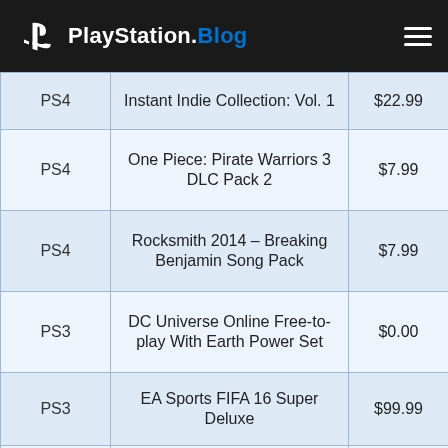PlayStation.Blog
| Platform | Title | Price |
| --- | --- | --- |
| PS4 | Instant Indie Collection: Vol. 1 | $22.99 |
| PS4 | One Piece: Pirate Warriors 3 DLC Pack 2 | $7.99 |
| PS4 | Rocksmith 2014 – Breaking Benjamin Song Pack | $7.99 |
| PS3 | DC Universe Online Free-to-play With Earth Power Set | $0.00 |
| PS3 | EA Sports FIFA 16 Super Deluxe | $99.99 |
| PS3 | EA Sports FIFA 16 Deluxe | $69.99 |
| PS3 | One Piece: Pirate Warriors 3 DLC Pack 2 | $7.99 |
| PS3 | Rocksmith 2014 – Breaking Benjamin Song Pack | $7.99 |
| PS Vita | One Piece: Pirate Warriors 3 | $7.99 |